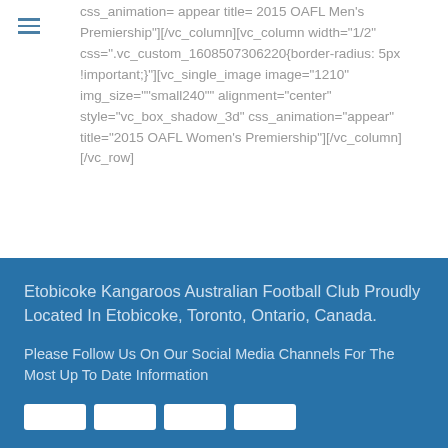css_animation= appear title= 2015 OAFL Men's Premiership"][/vc_column][vc_column width="1/2" css=".vc_custom_1608507306220{border-radius: 5px !important;}"][vc_single_image image="1210" img_size=""small240"" alignment="center" style="vc_box_shadow_3d" onclick="link_image" css_animation="appear" title="2015 OAFL Women's Premiership"][/vc_column][/vc_row]
Etobicoke Kangaroos Australian Football Club Proudly Located In Etobicoke, Toronto, Ontario, Canada.
Please Follow Us On Our Social Media Channels For The Most Up To Date Information